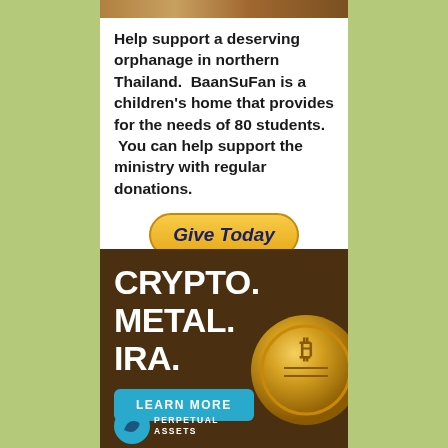[Figure (photo): Top portion of a photo showing children or people at an orphanage in Thailand, partially cropped at top]
Help support a deserving orphanage in northern Thailand. BaanSuFan is a children's home that provides for the needs of 80 students. You can help support the ministry with regular donations.
Give Today
[Figure (infographic): Advertisement for Perpetual Assets featuring dark brown background with large white bold text reading CRYPTO. METAL. IRA. and a gold Bitcoin coin image on the right, a teal LEARN MORE button, and a Perpetual Assets logo at the bottom left]